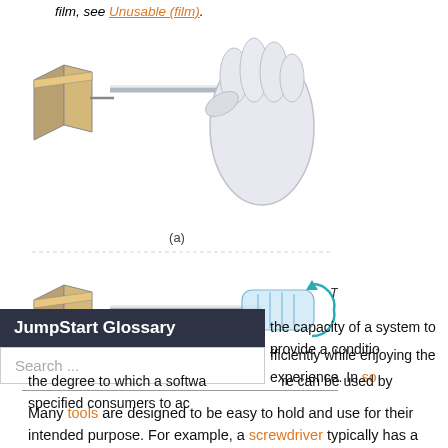film, see Unusable (film).
[Figure (illustration): Two diagrams showing a screwdriver being used: (a) a hand gripping a screwdriver driving into a wall/wood block, (b) the screwdriver alone with a torque arrow T indicating rotation]
(a)
(b)
Many tools are designed to be easy to hold and use for their intended purpose. For example, a screwdriver typically has a handle with rounded edges and a grippable surface, to make it easier for the user to hold the handle and twist it to drive a screw.
...the capacity of a system to provide a condition efficiently while enjoying the experience. In so...
the degree to which a software can be used by specified consumers to ac...
JumpStart Glossary
Search ...